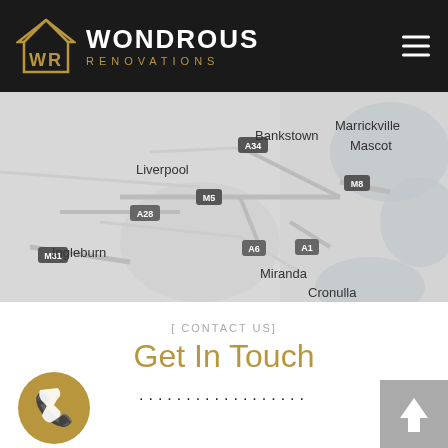[Figure (logo): Wondrous Renovations logo with WR house icon in gold and black, company name in white with gold RENOVATIONS subtitle]
[Figure (map): Greyscale map of Sydney area showing suburbs: Liverpool, Bankstown, Marrickville, Mascot, Ingleburn, Miranda, Cronulla with road labels A28, A34, M5, M8, A6, A1, M31]
[ CONTACT US]
Get In Touch
..................
[Figure (illustration): Gold circular phone icon]
[Figure (illustration): Grey square button with white upward arrow]